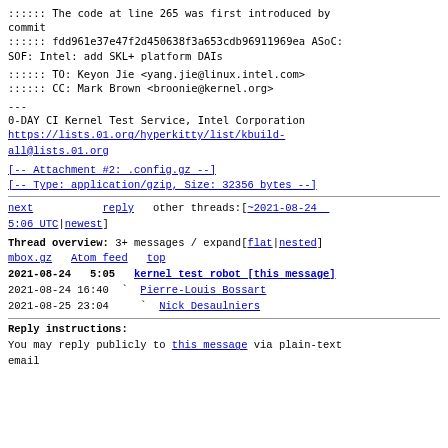:::::: The code at line 265 was first introduced by commit
:::::: fdd961e37e47f2d450638f3a653cdb96911969ea ASoC: SOF: Intel: add SKL+ platform DAIs
:::::: TO: Keyon Jie <yang.jie@linux.intel.com>
:::::: CC: Mark Brown <broonie@kernel.org>
---
0-DAY CI Kernel Test Service, Intel Corporation
https://lists.01.org/hyperkitty/list/kbuild-all@lists.01.org
[-- Attachment #2: .config.gz --]
[-- Type: application/gzip, Size: 32356 bytes --]
next    reply   other threads:[~2021-08-24 5:06 UTC|newest]
Thread overview: 3+ messages / expand[flat|nested]
mbox.gz  Atom feed  top
2021-08-24  5:05  kernel test robot [this message]
2021-08-24 16:40 ` Pierre-Louis Bossart
2021-08-25 23:04   ` Nick Desaulniers
Reply instructions:
You may reply publicly to this message via plain-text email